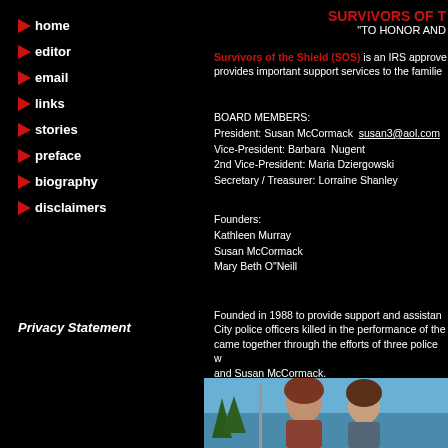SURVIVORS OF T... "TO HONOR AND...
home
editor
email
links
stories
preface
biography
disclaimers
Privacy Statement
Survivors of the Shield (SOS) is an IRS approve... provides important support services to the familie...
BOARD MEMBERS:
President: Susan McCormack  susan3@aol.com
Vice-President: Barbara  Nugent
2nd Vice-President: Maria Dziergowski
Secretary / Treasurer: Lorraine Shanley
Founders:
Kathleen Murray
Susan McCormack
Mary Beth O"Neill
Founded in 1988 to provide support and assistan... City police officers killed in the performance of the... came together through the efforts of three police w... and Susan McCormack.
[Figure (photo): Photo of two people outdoors with trees and a pole in background, blue sky]
©1999 - 2013
Edward D. Reuss
All rights reserved. Including the
right of reproduction in whole or part
in any form